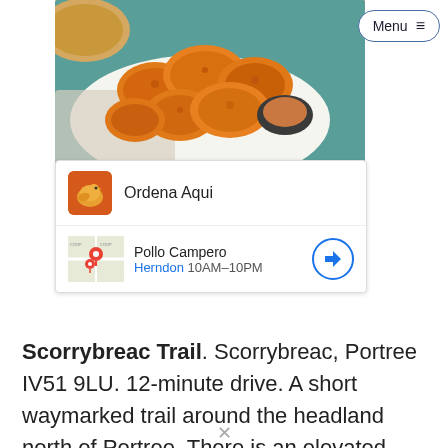[Figure (screenshot): Screenshot of a food photo showing fried chicken pieces on a plate with dipping sauce, overlaid with a Google search result card showing 'Ordena Aqui' and 'Pollo Campero Herndon 10AM-10PM' map info, plus a Menu button in top right]
Scorrybreac Trail. Scorrybreac, Portree IV51 9LU. 12-minute drive. A short waymarked trail around the headland north of Portree. There is an elevated section that has panoramic views across Portree. The remainder of the